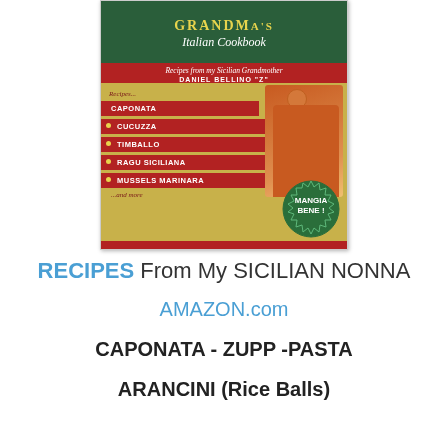[Figure (illustration): Book cover for 'Grandma's Italian Cookbook – Recipes from my Sicilian Grandmother' by Daniel Bellino 'Z'. Vintage-style cover with green and gold colors, red banners listing recipes: Caponata, Cucuzza, Timballo, Ragu Siciliana, Mussels Marinara, and more. Features an illustration of a woman cooking and a badge reading 'Mangia Bene!']
RECIPES From My SICILIAN NONNA
AMAZON.com
CAPONATA - ZUPP -PASTA
ARANCINI (Rice Balls)